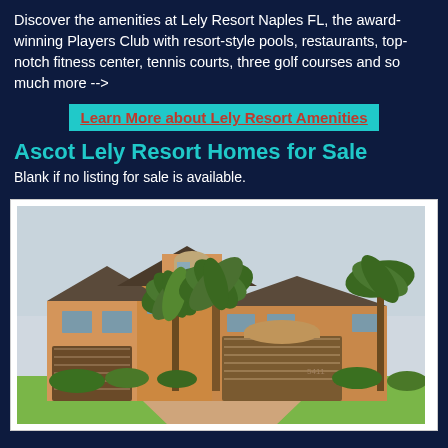Discover the amenities at Lely Resort Naples FL, the award-winning Players Club with resort-style pools, restaurants, top-notch fitness center, tennis courts, three golf courses and so much more -->
Learn More about Lely Resort Amenities
Ascot Lely Resort Homes for Sale
Blank if no listing for sale is available.
[Figure (photo): Exterior photo of Ascot Lely Resort home with palm trees, tan stucco facade, tile roof, two-car garage, and paver driveway]